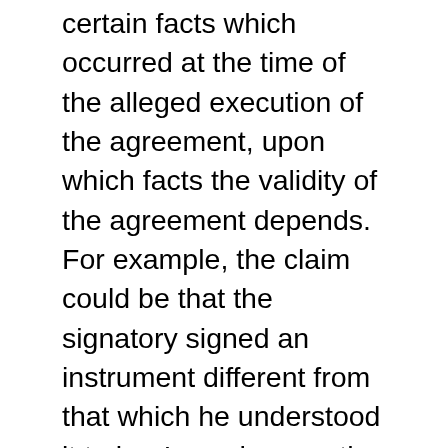certain facts which occurred at the time of the alleged execution of the agreement, upon which facts the validity of the agreement depends. For example, the claim could be that the signatory signed an instrument different from that which he understood it to be. In such case, the instrument would be void ab initio (supra, at p 71). In essence, this defense is “in substance negative” (Murray v Narwood, 192 N.Y. 172, 177) and results in the requirement that a “plaintiff, in undertaking to prove the contract upon which his lawsuit is based, [has] cast upon him the burden of establishing, by a preponderance of evidence, that it was a good and valid contract having a legal inception which was binding upon the defendant” (Fleming v Ponziani, 24 N.Y.2d 105, 110). In such cases, rescission is __ (Gilbester Rothschild ___ p 71)